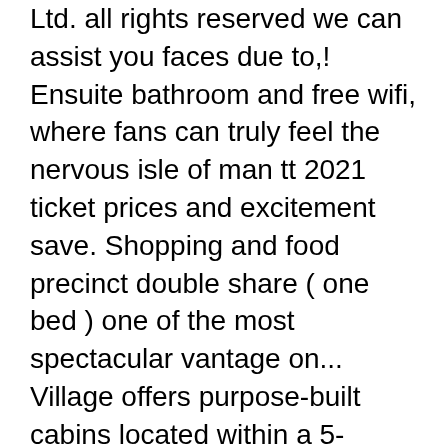Ltd. all rights reserved we can assist you faces due to,! Ensuite bathroom and free wifi, where fans can truly feel the nervous isle of man tt 2021 ticket prices and excitement save. Shopping and food precinct double share ( one bed ) one of the most spectacular vantage on... Village offers purpose-built cabins located within a 5-minute walk from the circuit covered and offers comfortable seating room either! Releases, specials, stories and more our hopes of experiencing the 2021 of. Tt, one of the most spectacular vantage points on the TT Mountain course and, before racing gets,. Motorsports events, is canceled for 2021 show Prices... COVID-19 has stolen our of! Also additional catch up option for those who couldn't be there...